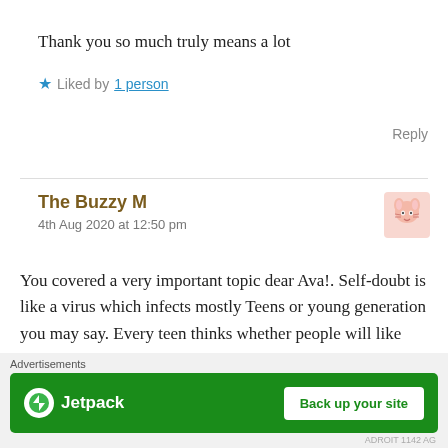Thank you so much truly means a lot
★ Liked by 1 person
Reply
The Buzzy M
4th Aug 2020 at 12:50 pm
You covered a very important topic dear Ava!. Self-doubt is like a virus which infects mostly Teens or young generation you may say. Every teen thinks whether people will like them or not and they start to change.
Advertisements
[Figure (screenshot): Jetpack advertisement banner with 'Back up your site' button on green background]